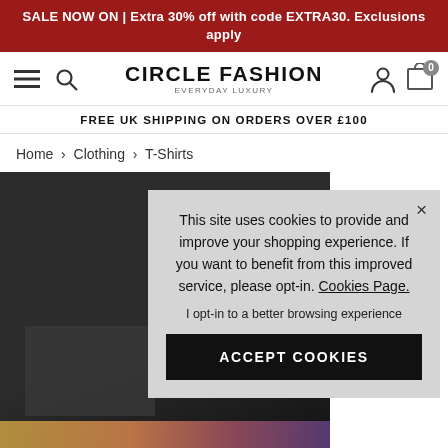SALE NOW ON | Extra 30% off with code EXTRA30. Exclusions apply
[Figure (screenshot): Circle Fashion navigation bar with hamburger menu, search icon, brand logo, user icon and cart icon showing 0 items]
FREE UK SHIPPING ON ORDERS OVER £100
Home › Clothing › T-Shirts
[Figure (photo): Black t-shirt product photo with leather patch detail and colorful bottom strip]
This site uses cookies to provide and improve your shopping experience. If you want to benefit from this improved service, please opt-in. Cookies Page.
I opt-in to a better browsing experience
ACCEPT COOKIES